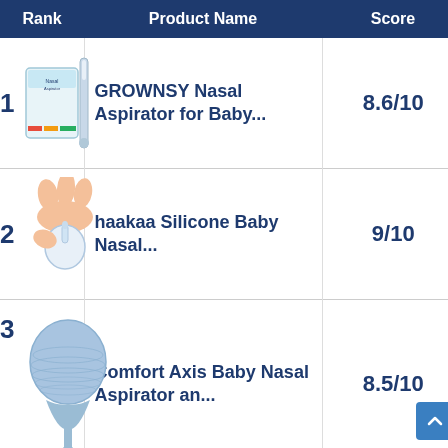| Rank | Product Name | Score |
| --- | --- | --- |
| 1 | GROWNSY Nasal Aspirator for Baby... | 8.6/10 |
| 2 | haakaa Silicone Baby Nasal... | 9/10 |
| 3 | Comfort Axis Baby Nasal Aspirator an... | 8.5/10 |